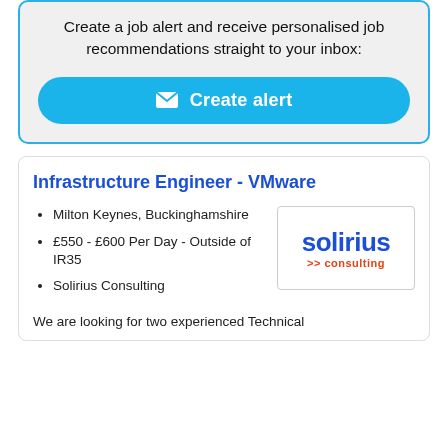Create a job alert and receive personalised job recommendations straight to your inbox:
Create alert
Infrastructure Engineer - VMware
Milton Keynes, Buckinghamshire
£550 - £600 Per Day - Outside of IR35
Solirius Consulting
[Figure (logo): Solirius Consulting company logo with blue bold text 'solirius' and orange '>> consulting' tagline]
We are looking for two experienced Technical